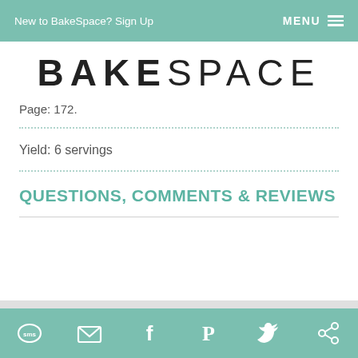New to BakeSpace? Sign Up   MENU
BAKESPACE
Page: 172.
Yield: 6 servings
QUESTIONS, COMMENTS & REVIEWS
sms email facebook pinterest twitter other